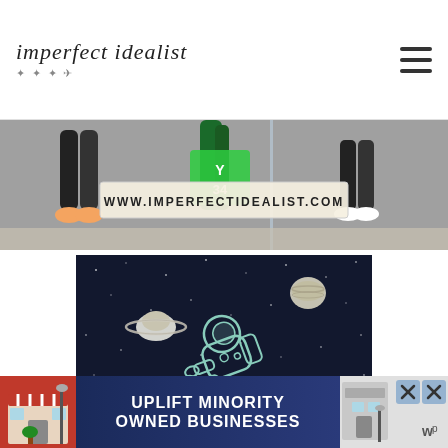imperfect idealist
[Figure (photo): Street-level photo of people walking, with a banner overlay showing www.imperfectidealist.com]
[Figure (illustration): Dark space scene illustration with an astronaut floating in zero-gravity, surrounded by planets (Saturn with rings, a gas giant), stars, and a comet on a dark navy background]
[Figure (infographic): Advertisement banner: 'UPLIFT MINORITY OWNED BUSINESSES' with a storefront graphic on left, close buttons on right]